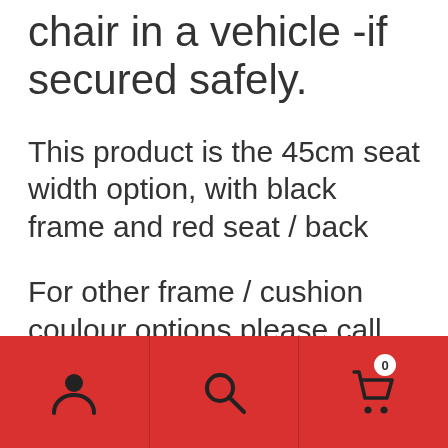chair in a vehicle -if secured safely.
This product is the 45cm seat width option, with black frame and red seat / back
For other frame / cushion coulour options please call 01623 627565 or send us a message on the contact us